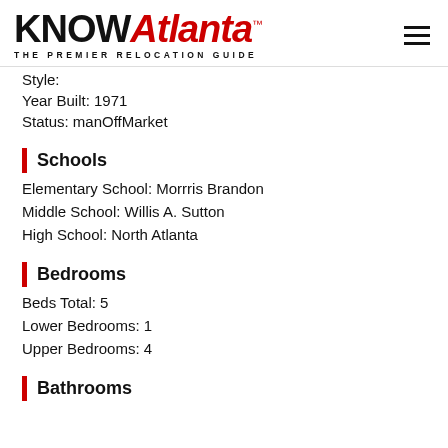KNOWAtlanta™ THE PREMIER RELOCATION GUIDE
Style:
Year Built: 1971
Status: manOffMarket
Schools
Elementary School: Morrris Brandon
Middle School: Willis A. Sutton
High School: North Atlanta
Bedrooms
Beds Total: 5
Lower Bedrooms: 1
Upper Bedrooms: 4
Bathrooms